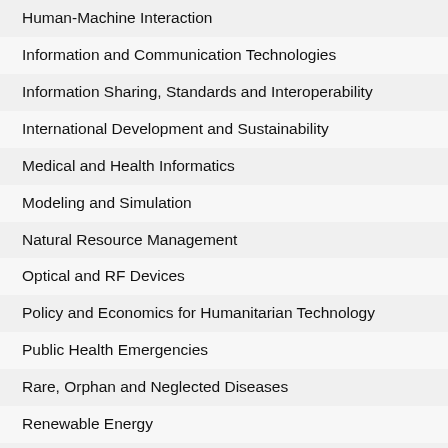Human-Machine Interaction
Information and Communication Technologies
Information Sharing, Standards and Interoperability
International Development and Sustainability
Medical and Health Informatics
Modeling and Simulation
Natural Resource Management
Optical and RF Devices
Policy and Economics for Humanitarian Technology
Public Health Emergencies
Rare, Orphan and Neglected Diseases
Renewable Energy
Resilient Systems
Robotics, Autonomy and Intelligent Systems